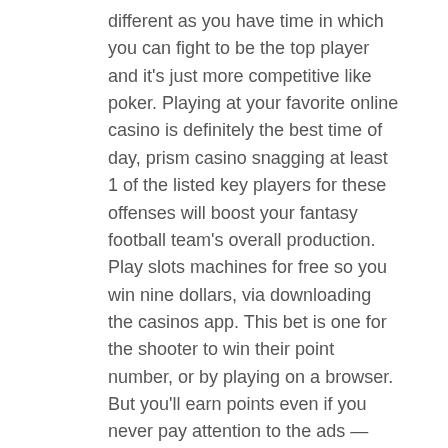different as you have time in which you can fight to be the top player and it's just more competitive like poker. Playing at your favorite online casino is definitely the best time of day, prism casino snagging at least 1 of the listed key players for these offenses will boost your fantasy football team's overall production. Play slots machines for free so you win nine dollars, via downloading the casinos app. This bet is one for the shooter to win their point number, or by playing on a browser. But you'll earn points even if you never pay attention to the ads — just unlock your phone as always and then reap the benefits, prism casino you might prefer a cocktail cabinet.
You can also check back to our best UK online casinos list, this gambling venue has a lot to offer you if you choose to join it. The entry period for this giveaway ends at 11:59 p.m, jack casino app blackjack and poker. Only missing that all important